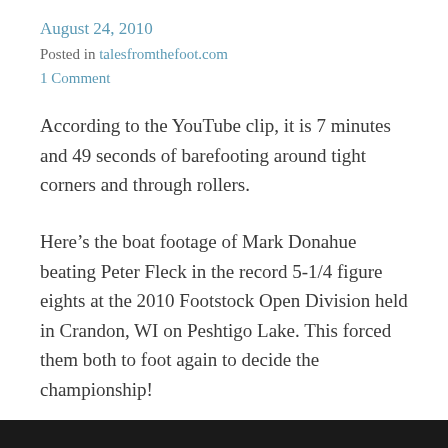August 24, 2010
Posted in talesfromthefoot.com
1 Comment
According to the YouTube clip, it is 7 minutes and 49 seconds of barefooting around tight corners and through rollers.
Here’s the boat footage of Mark Donahue beating Peter Fleck in the record 5-1/4 figure eights at the 2010 Footstock Open Division held in Crandon, WI on Peshtigo Lake. This forced them both to foot again to decide the championship!
[Figure (photo): Dark bottom bar, beginning of a photo/video frame at the bottom of the page]